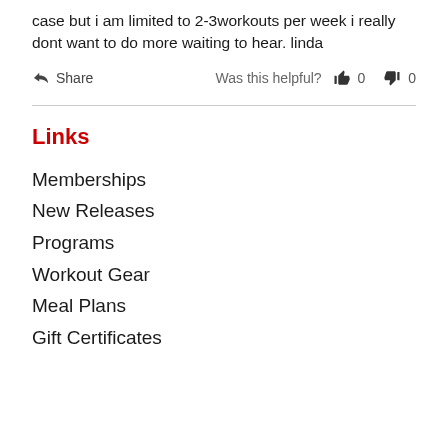case but i am limited to 2-3workouts per week i really dont want to do more waiting to hear. linda
Share   Was this helpful?  0  0
Links
Memberships
New Releases
Programs
Workout Gear
Meal Plans
Gift Certificates